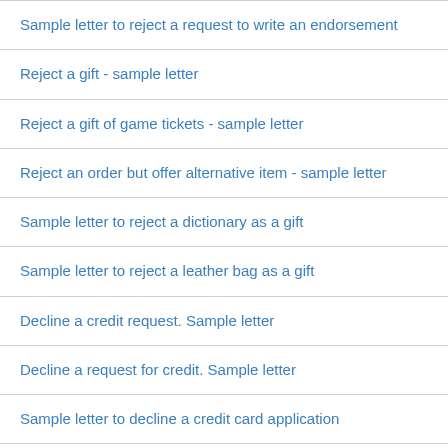Sample letter to reject a request to write an endorsement
Reject a gift - sample letter
Reject a gift of game tickets - sample letter
Reject an order but offer alternative item - sample letter
Sample letter to reject a dictionary as a gift
Sample letter to reject a leather bag as a gift
Decline a credit request. Sample letter
Decline a request for credit. Sample letter
Sample letter to decline a credit card application
Sample letter to decline a credit request
Sample letter to decline a request for assistance on divorce